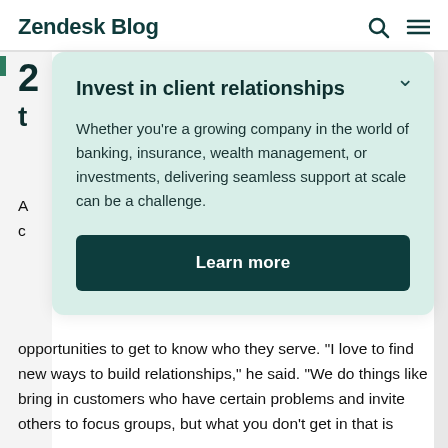Zendesk Blog
Invest in client relationships
Whether you’re a growing company in the world of banking, insurance, wealth management, or investments, delivering seamless support at scale can be a challenge.
Learn more
opportunities to get to know who they serve. “I love to find new ways to build relationships,” he said. “We do things like bring in customers who have certain problems and invite others to focus groups, but what you don’t get in that is